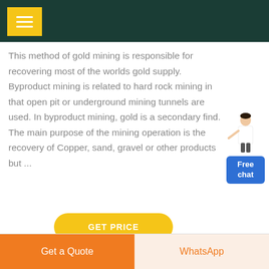This method of gold mining is responsible for recovering most of the worlds gold supply. Byproduct mining is related to hard rock mining in that open pit or underground mining tunnels are used. In byproduct mining, gold is a secondary find. The main purpose of the mining operation is the recovery of Copper, sand, gravel or other products but ...
GET PRICE
Get a Quote  |  WhatsApp